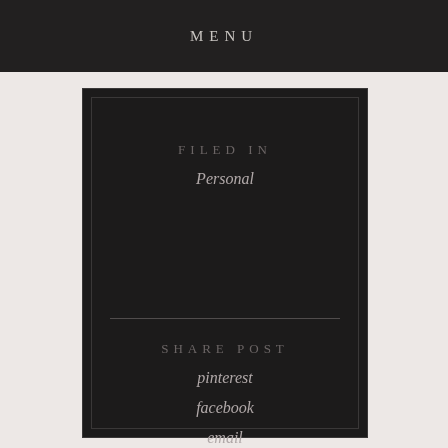MENU
FILED IN
Personal
SHARE POST
pinterest
facebook
email